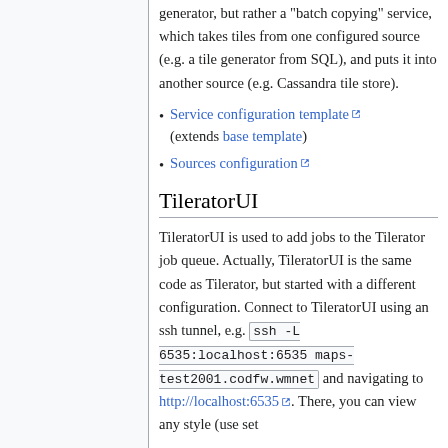generator, but rather a "batch copying" service, which takes tiles from one configured source (e.g. a tile generator from SQL), and puts it into another source (e.g. Cassandra tile store).
Service configuration template (extends base template)
Sources configuration
TileratorUI
TileratorUI is used to add jobs to the Tilerator job queue. Actually, TileratorUI is the same code as Tilerator, but started with a different configuration. Connect to TileratorUI using an ssh tunnel, e.g. ssh -L 6535:localhost:6535 maps-test2001.codfw.wmnet and navigating to http://localhost:6535. There, you can view any style (use set